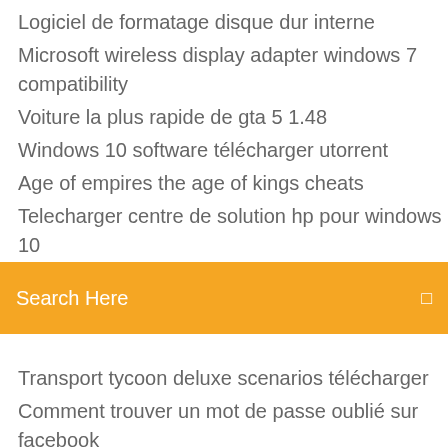Logiciel de formatage disque dur interne
Microsoft wireless display adapter windows 7 compatibility
Voiture la plus rapide de gta 5 1.48
Windows 10 software télécharger utorrent
Age of empires the age of kings cheats
Telecharger centre de solution hp pour windows 10
[Figure (screenshot): Orange search bar with 'Search Here' text and a small icon on the right]
Transport tycoon deluxe scenarios télécharger
Comment trouver un mot de passe oublié sur facebook
Telegram application gratuit télécharger
Who deleted me google chrome
Quel meilleur antivirus pour cle usb
Euro truck simulator 2 carte graphique
Magic iso virtual drive windows 10
Avast antivirus 2019 gratuit télécharger
Télécharger navigateur mozilla firefox 2019
Smart view qui ne fonctionne pas